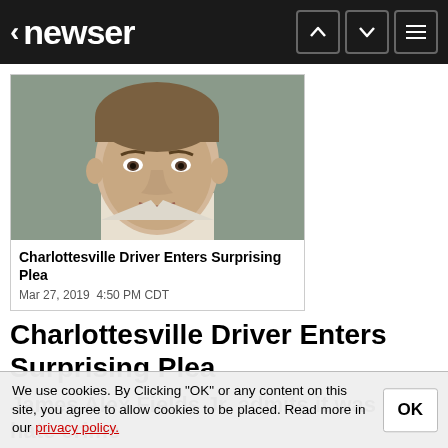< newser
[Figure (photo): Mugshot photo of James Alex Fields Jr., a young white male looking at the camera]
Charlottesville Driver Enters Surprising Plea
Mar 27, 2019  4:50 PM CDT
Charlottesville Driver Enters Surprising Plea
James Alex Fields Jr. admits it was a hate crime
(NEWSER) - A man convicted on state murder charges in a deadly car attack at a white nationalist rally in Virginia pleaded guilty Wednesday to federal hate crimes, including charges that required racial tensions across the country the AP reports. Anders
We use cookies. By Clicking "OK" or any content on this site, you agree to allow cookies to be placed. Read more in our privacy policy.